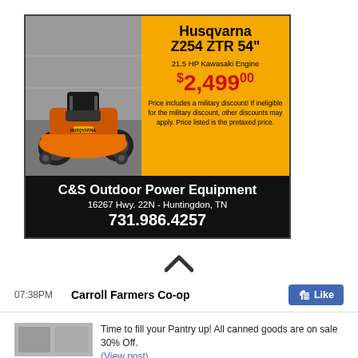[Figure (photo): Advertisement for Husqvarna Z254 ZTR 54 inch zero-turn mower. Shows orange mower on left, product name, price $2,499.00, engine specs, and store info on orange/black background.]
07:38PM
Carroll Farmers Co-op
Like
Time to fill your Pantry up! All canned goods are on sale 30% Off. (View post)